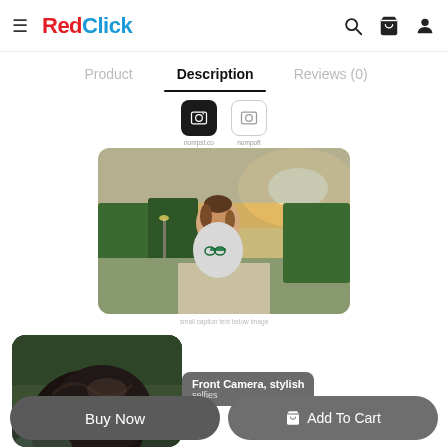RedClick — hamburger menu, search, cart, and user icons
Product | Description | Reviews (0)
[Figure (screenshot): Two small app icons (camera-style) labeled below — one dark rounded square icon and one light outlined square icon]
[Figure (photo): Young woman standing outdoors in a park at sunset, wearing a light grey shirt with green sunglasses hanging from collar, trees and pathway in background]
small caption text below main image
[Figure (photo): Close-up of a person with dark curly hair from behind/side angle, partially visible lower left]
Front Camera, stylish
selfies
Buy Now
Add To Cart